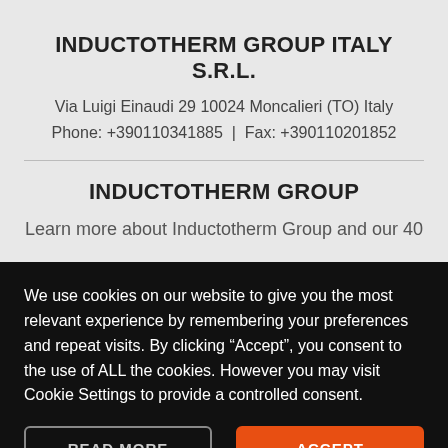INDUCTOTHERM GROUP ITALY S.R.L.
Via Luigi Einaudi 29 10024 Moncalieri (TO) Italy
Phone: +390110341885  |  Fax: +390110201852
INDUCTOTHERM GROUP
Learn more about Inductotherm Group and our 40
We use cookies on our website to give you the most relevant experience by remembering your preferences and repeat visits. By clicking “Accept”, you consent to the use of ALL the cookies. However you may visit Cookie Settings to provide a controlled consent.
READ MORE
ACCEPT